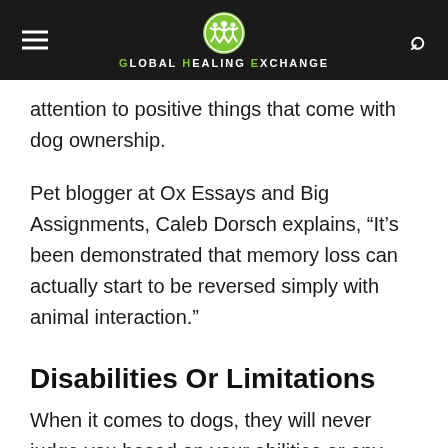Global Healing Exchange
attention to positive things that come with dog ownership.
Pet blogger at Ox Essays and Big Assignments, Caleb Dorsch explains, “It’s been demonstrated that memory loss can actually start to be reversed simply with animal interaction.”
Disabilities Or Limitations
When it comes to dogs, they will never judge you based on your abilities or any other physical trait